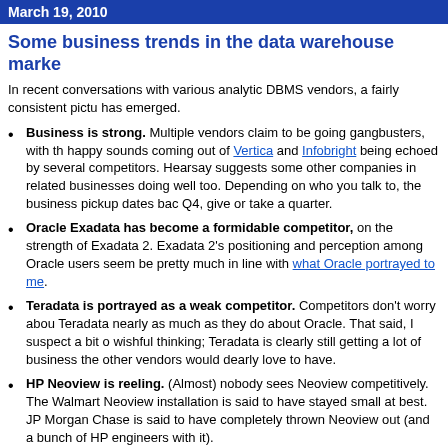March 19, 2010
Some business trends in the data warehouse market
In recent conversations with various analytic DBMS vendors, a fairly consistent picture has emerged.
Business is strong. Multiple vendors claim to be going gangbusters, with the happy sounds coming out of Vertica and Infobright being echoed by several competitors. Hearsay suggests some other companies in related businesses doing well too. Depending on who you talk to, the business pickup dates back Q4, give or take a quarter.
Oracle Exadata has become a formidable competitor, on the strength of Exadata 2. Exadata 2's positioning and perception among Oracle users seem to be pretty much in line with what Oracle portrayed to me.
Teradata is portrayed as a weak competitor. Competitors don't worry about Teradata nearly as much as they do about Oracle. That said, I suspect a bit of wishful thinking; Teradata is clearly still getting a lot of business the other vendors would dearly love to have.
HP Neoview is reeling. (Almost) nobody sees Neoview competitively. The Walmart Neoview installation is said to have stayed small at best. JP Morgan Chase is said to have completely thrown Neoview out (and a bunch of HP engineers with it).
(Almost) nobody mentions competing against DB2 either. This continues to baffle me.